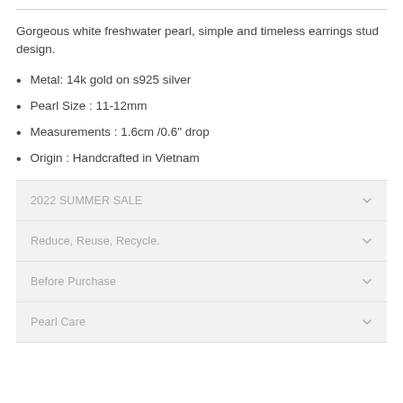Gorgeous white freshwater pearl, simple and timeless earrings stud design.
Metal: 14k gold on s925 silver
Pearl Size : 11-12mm
Measurements : 1.6cm /0.6" drop
Origin : Handcrafted in Vietnam
2022 SUMMER SALE
Reduce, Reuse, Recycle.
Before Purchase
Pearl Care